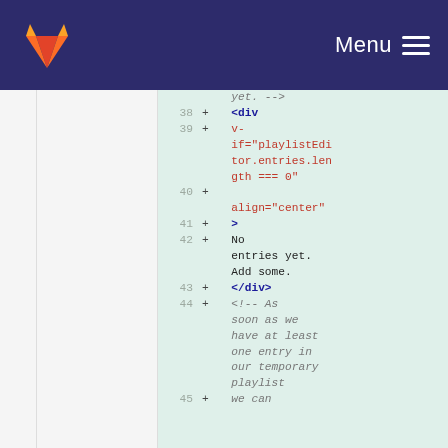GitLab — Menu
[Figure (screenshot): Code diff view showing HTML template lines 38–45 with added lines highlighted in green, showing a Vue.js v-if directive for playlist editor entries]
yet. -->
38 + <div
39 + v-if="playlistEditor.entries.length === 0"
40 + align="center"
41 + >
42 + No entries yet. Add some.
43 + </div>
44 + <!-- As soon as we have at least one entry in our temporary playlist
45 + we can